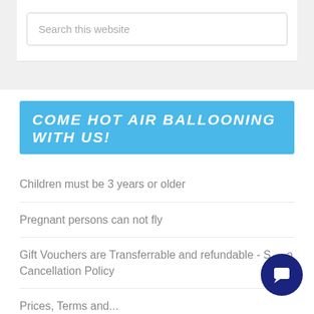[Figure (screenshot): Search bar with placeholder text 'Search this website']
COME HOT AIR BALLOONING WITH US!
Children must be 3 years or older
Pregnant persons can not fly
Gift Vouchers are Transferrable and refundable - S... Cancellation Policy
Prices, Terms and...